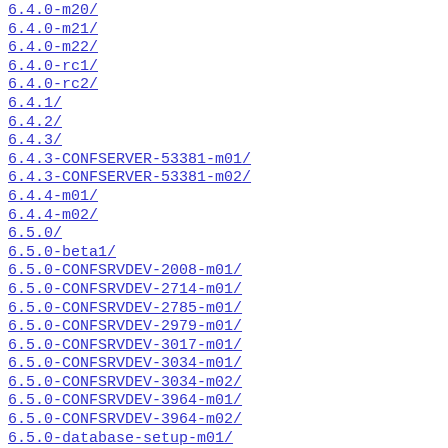6.4.0-m20/
6.4.0-m21/
6.4.0-m22/
6.4.0-rc1/
6.4.0-rc2/
6.4.1/
6.4.2/
6.4.3/
6.4.3-CONFSERVER-53381-m01/
6.4.3-CONFSERVER-53381-m02/
6.4.4-m01/
6.4.4-m02/
6.5.0/
6.5.0-beta1/
6.5.0-CONFSRVDEV-2008-m01/
6.5.0-CONFSRVDEV-2714-m01/
6.5.0-CONFSRVDEV-2785-m01/
6.5.0-CONFSRVDEV-2979-m01/
6.5.0-CONFSRVDEV-3017-m01/
6.5.0-CONFSRVDEV-3034-m01/
6.5.0-CONFSRVDEV-3034-m02/
6.5.0-CONFSRVDEV-3964-m01/
6.5.0-CONFSRVDEV-3964-m02/
6.5.0-database-setup-m01/
6.5.0-m01/
6.5.0-m02/
6.5.0-m03/
6.5.0-m04/
6.5.0-m05/
6.5.0-m06/